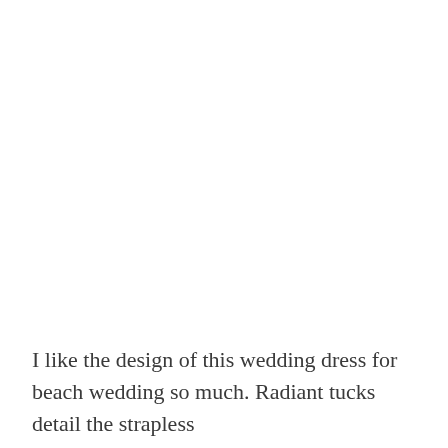I like the design of this wedding dress for beach wedding so much. Radiant tucks detail the strapless